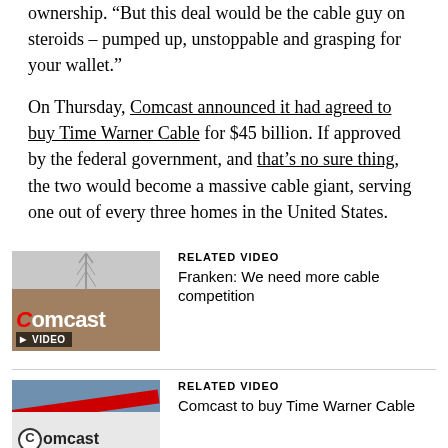ownership. “But this deal would be the cable guy on steroids – pumped up, unstoppable and grasping for your wallet.”
On Thursday, Comcast announced it had agreed to buy Time Warner Cable for $45 billion. If approved by the federal government, and that’s no sure thing, the two would become a massive cable giant, serving one out of every three homes in the United States.
[Figure (screenshot): Thumbnail image of a Comcast building with a tower, showing the Comcast logo, with a VIDEO badge overlay]
RELATED VIDEO
Franken: We need more cable competition
[Figure (screenshot): Thumbnail image of a Comcast van with the Comcast logo and a red stripe, with a VIDEO badge overlay]
RELATED VIDEO
Comcast to buy Time Warner Cable